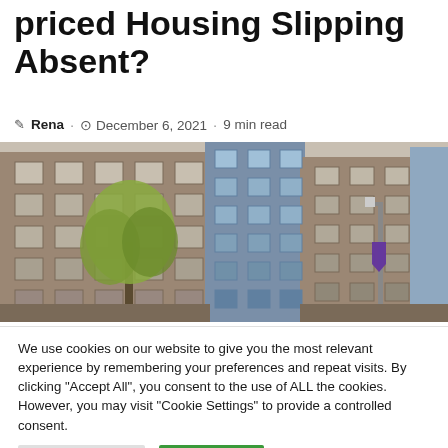priced Housing Slipping Absent?
✎ Rena · © December 6, 2021 · 9 min read
[Figure (photo): Photograph of a multi-story brick apartment building in an urban setting, with a tree in the foreground and a street lamp visible on the right side. A purple banner is partially visible on the lamp post.]
We use cookies on our website to give you the most relevant experience by remembering your preferences and repeat visits. By clicking "Accept All", you consent to the use of ALL the cookies. However, you may visit "Cookie Settings" to provide a controlled consent.
Cookie Settings | Accept All